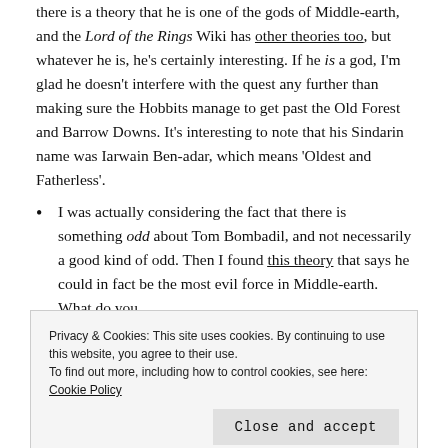there is a theory that he is one of the gods of Middle-earth, and the Lord of the Rings Wiki has other theories too, but whatever he is, he's certainly interesting. If he is a god, I'm glad he doesn't interfere with the quest any further than making sure the Hobbits manage to get past the Old Forest and Barrow Downs. It's interesting to note that his Sindarin name was Iarwain Ben-adar, which means 'Oldest and Fatherless'.
I was actually considering the fact that there is something odd about Tom Bombadil, and not necessarily a good kind of odd. Then I found this theory that says he could in fact be the most evil force in Middle-earth. What do you
Privacy & Cookies: This site uses cookies. By continuing to use this website, you agree to their use.
To find out more, including how to control cookies, see here: Cookie Policy